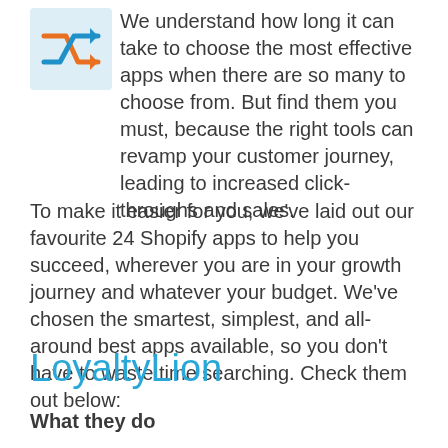[Figure (logo): Shuffle/random icon with orange and blue arrows on light blue background]
We understand how long it can take to choose the most effective apps when there are so many to choose from. But find them you must, because the right tools can revamp your customer journey, leading to increased click-throughs and sales.
To make it easier for you, we’ve laid out our favourite 24 Shopify apps to help you succeed, wherever you are in your growth journey and whatever your budget. We’ve chosen the smartest, simplest, and all-around best apps available, so you don’t have to waste time searching. Check them out below:
LoyaltyLion
What they do